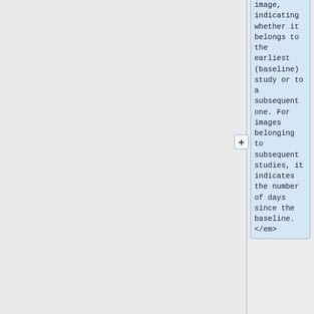image, indicating whether it belongs to the earliest (baseline) study or to a subsequent one. For images belonging to subsequent studies, it indicates the number of days since the baseline. </em>
* The